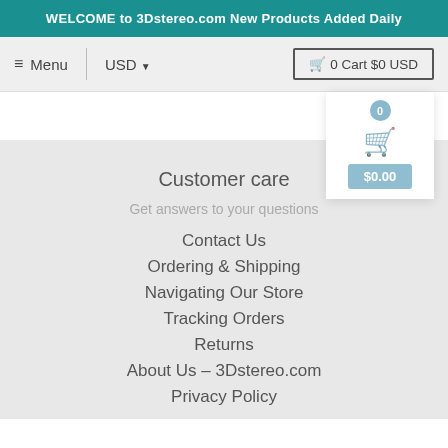WELCOME to 3Dstereo.com New Products Added Daily
≡ Menu | USD ▾ | 0 Cart $0 USD
Customer care
Get answers to your questions
Contact Us
Ordering & Shipping
Navigating Our Store
Tracking Orders
Returns
About Us – 3Dstereo.com
Privacy Policy